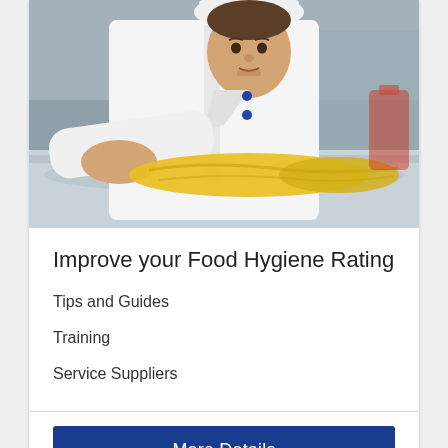[Figure (photo): A chef in white uniform leaning over a stainless steel kitchen counter, wiping it with a yellow cloth]
Improve your Food Hygiene Rating
Tips and Guides
Training
Service Suppliers
More Details